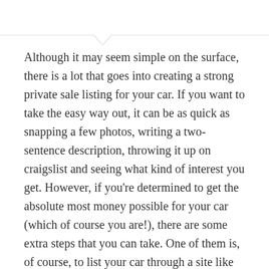Although it may seem simple on the surface, there is a lot that goes into creating a strong private sale listing for your car. If you want to take the easy way out, it can be as quick as snapping a few photos, writing a two-sentence description, throwing it up on craigslist and seeing what kind of interest you get. However, if you're determined to get the absolute most money possible for your car (which of course you are!), there are some extra steps that you can take. One of them is, of course, to list your car through a site like TRED, and we've touched on why that can be an effective way to sell your car in other articles. Regardless of where you decide to list your car though, there are extra steps that you can take to guarantee a higher sale price, so let's get into